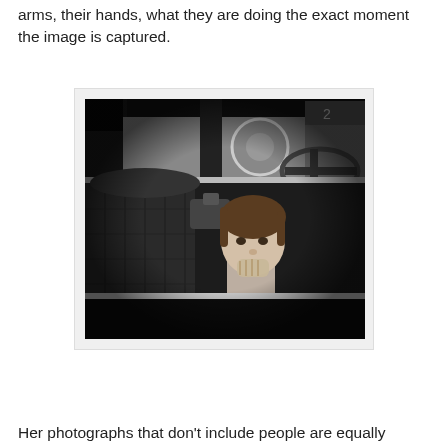arms, their hands, what they are doing the exact moment the image is captured.
[Figure (photo): Black and white photograph of a young child sitting inside a vintage car, viewed through the car window. The child has short hair and rests their chin on their hand. The car interior shows leather seats and a steering wheel. Another car is visible through the rear window.]
Her photographs that don't include people are equally